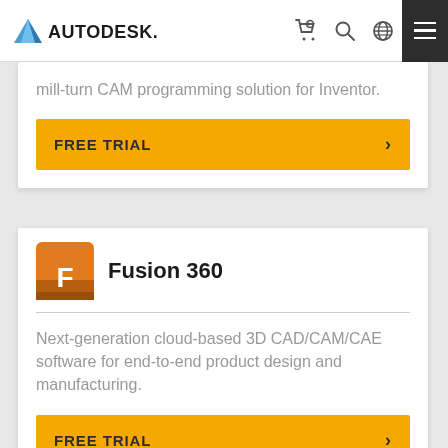[Figure (logo): Autodesk logo with navigation icons (cart, search, globe, hamburger menu)]
mill-turn CAM programming solution for Inventor.
FREE TRIAL ›
Fusion 360
Next-generation cloud-based 3D CAD/CAM/CAE software for end-to-end product design and manufacturing.
FREE TRIAL ›